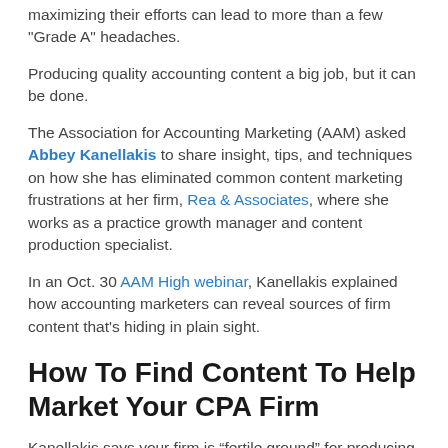maximizing their efforts can lead to more than a few "Grade A" headaches.
Producing quality accounting content a big job, but it can be done.
The Association for Accounting Marketing (AAM) asked Abbey Kanellakis to share insight, tips, and techniques on how she has eliminated common content marketing frustrations at her firm, Rea & Associates, where she works as a practice growth manager and content production specialist.
In an Oct. 30 AAM High webinar, Kanellakis explained how accounting marketers can reveal sources of firm content that's hiding in plain sight.
How To Find Content To Help Market Your CPA Firm
Kanellakis says your firm is “fertile ground” for producing quality accounting content, as long as you know where to find it. For example, she said not every new blog post has to be created from scratch. You can simply look around at what’s already been published or at other readily available sources of information.